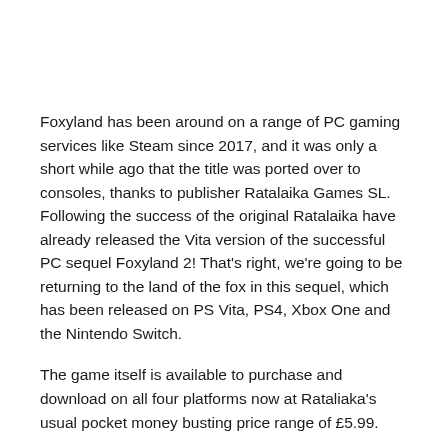Foxyland has been around on a range of PC gaming services like Steam since 2017, and it was only a short while ago that the title was ported over to consoles, thanks to publisher Ratalaika Games SL. Following the success of the original Ratalaika have already released the Vita version of the successful PC sequel Foxyland 2! That's right, we're going to be returning to the land of the fox in this sequel, which has been released on PS Vita, PS4, Xbox One and the Nintendo Switch.
The game itself is available to purchase and download on all four platforms now at Rataliaka's usual pocket money busting price range of £5.99.
With the release of this sequel, players will once again be dropped straight into the crazy and hectic lifestyle of Foxy Fox. Foxy and his wife Jennie have had their cubs kidnapped by the